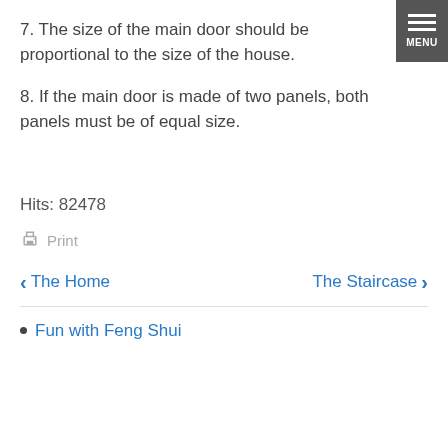7. The size of the main door should be proportional to the size of the house.
8. If the main door is made of two panels, both panels must be of equal size.
Hits: 82478
Print
< The Home | The Staircase >
Fun with Feng Shui